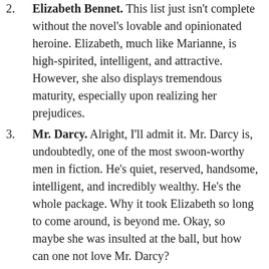2. Elizabeth Bennet. This list just isn't complete without the novel's lovable and opinionated heroine. Elizabeth, much like Marianne, is high-spirited, intelligent, and attractive. However, she also displays tremendous maturity, especially upon realizing her prejudices.
3. Mr. Darcy. Alright, I'll admit it. Mr. Darcy is, undoubtedly, one of the most swoon-worthy men in fiction. He's quiet, reserved, handsome, intelligent, and incredibly wealthy. He's the whole package. Why it took Elizabeth so long to come around, is beyond me. Okay, so maybe she was insulted at the ball, but how can one not love Mr. Darcy?
4. Lydia Bennet. Lydia Bennet is the character you'd love to hate. She's pigheaded and vapid, shameless and selfish. And yet, there's